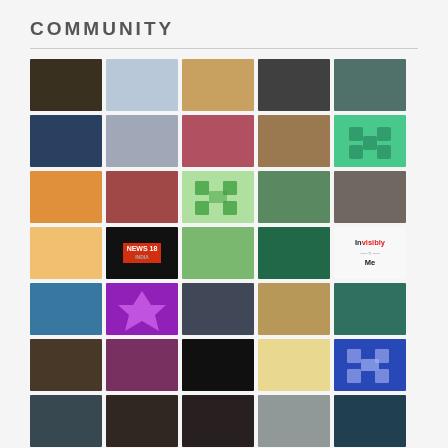COMMUNITY
[Figure (photo): Community page with a 5-column grid of profile photos and avatars of various community members]
Invisibly Me